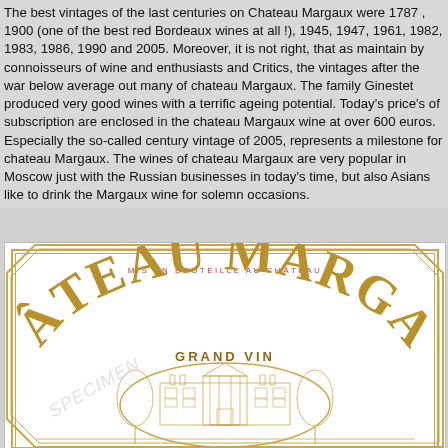The best vintages of the last centuries on Chateau Margaux were 1787 , 1900 (one of the best red Bordeaux wines at all !), 1945, 1947, 1961, 1982, 1983, 1986, 1990 and 2005. Moreover, it is not right, that as maintain by connoisseurs of wine and enthusiasts and Critics, the vintages after the war below average out many of chateau Margaux. The family Ginestet produced very good wines with a terrific ageing potential. Today's price's of subscription are enclosed in the chateau Margaux wine at over 600 euros. Especially the so-called century vintage of 2005, represents a milestone for chateau Margaux. The wines of chateau Margaux are very popular in Moscow just with the Russian businesses in today's time, but also Asians like to drink the Margaux wine for solemn occasions.
[Figure (illustration): Chateau Margaux wine label showing 'MIS EN BOUTEILLE AU CHÂTEAU' in red text, 'CHÂTEAU MARGAUX' in large gold curved text, 'GRAND VIN' below it, and an engraved illustration of the Chateau Margaux estate building within an oval frame, with gold decorative borders. A 'SPECIMEN' watermark appears diagonally.]